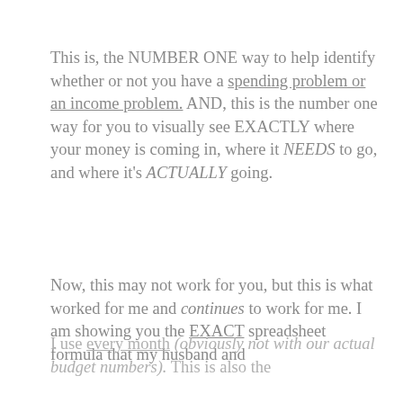This is, the NUMBER ONE way to help identify whether or not you have a spending problem or an income problem. AND, this is the number one way for you to visually see EXACTLY where your money is coming in, where it NEEDS to go, and where it's ACTUALLY going.

Now, this may not work for you, but this is what worked for me and continues to work for me. I am showing you the EXACT spreadsheet formula that my husband and I use every month (obviously not with our actual budget numbers). This is also the